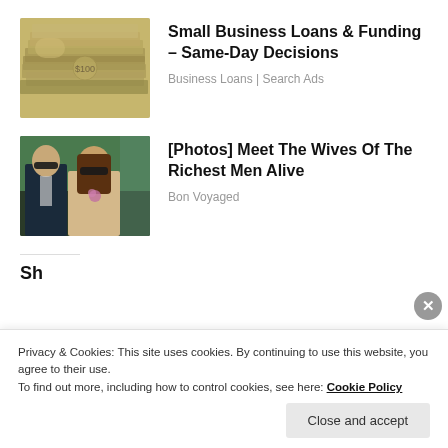[Figure (photo): Stack of US dollar bills/cash money]
Small Business Loans & Funding – Same-Day Decisions
Business Loans | Search Ads
[Figure (photo): Man in suit and woman with sunglasses sitting together at an event]
[Photos] Meet The Wives Of The Richest Men Alive
Bon Voyaged
Privacy & Cookies: This site uses cookies. By continuing to use this website, you agree to their use.
To find out more, including how to control cookies, see here: Cookie Policy
Close and accept